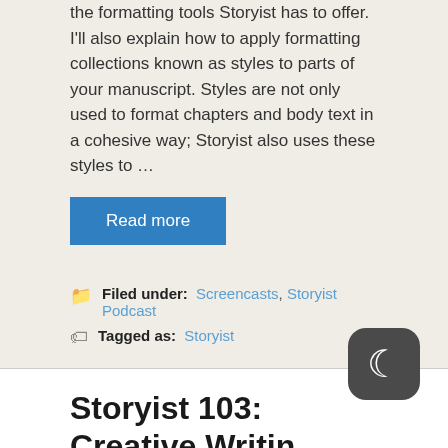the formatting tools Storyist has to offer. I'll also explain how to apply formatting collections known as styles to parts of your manuscript. Styles are not only used to format chapters and body text in a cohesive way; Storyist also uses these styles to …
Read more
Filed under: Screencasts, Storyist Podcast
Tagged as: Storyist
Storyist 103: Creative Writing Tools